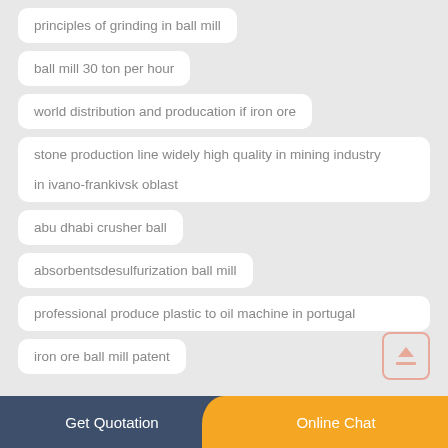principles of grinding in ball mill
ball mill 30 ton per hour
world distribution and producation if iron ore
stone production line widely high quality in mining industry in ivano-frankivsk oblast
abu dhabi crusher ball
absorbentsdesulfurization ball mill
professional produce plastic to oil machine in portugal
iron ore ball mill patent
Get Quotation | Online Chat